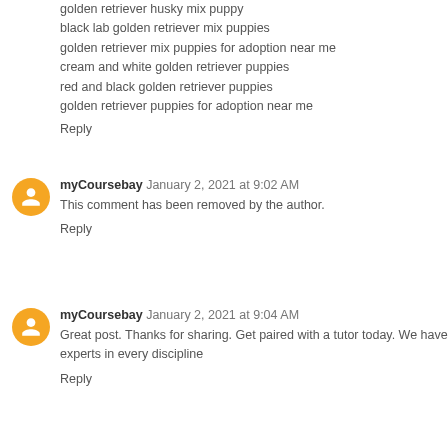golden retriever husky mix puppy
black lab golden retriever mix puppies
golden retriever mix puppies for adoption near me
cream and white golden retriever puppies
red and black golden retriever puppies
golden retriever puppies for adoption near me
Reply
myCoursebay  January 2, 2021 at 9:02 AM
This comment has been removed by the author.
Reply
myCoursebay  January 2, 2021 at 9:04 AM
Great post. Thanks for sharing. Get paired with a tutor today. We have experts in every discipline
Reply